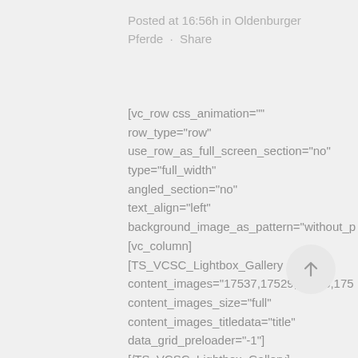Posted at 16:56h in Oldenburger Pferde · Share
[vc_row css_animation="" row_type="row" use_row_as_full_screen_section="no" type="full_width" angled_section="no" text_align="left" background_image_as_pattern="without_p [vc_column] [TS_VCSC_Lightbox_Gallery content_images="17537,17529,17543,175 content_images_size="full" content_images_titledata="title" data_grid_preloader="-1"] [/TS_VCSC_Lightbox_Gallery] [vc_column_text]Bei herrlichem